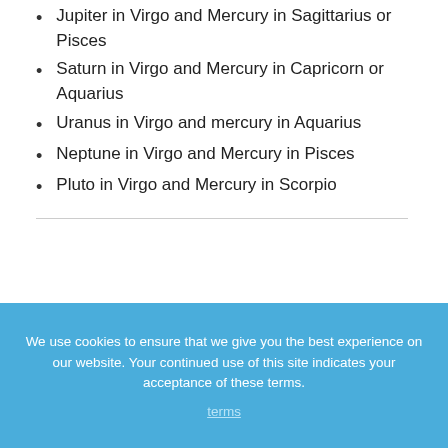Jupiter in Virgo and Mercury in Sagittarius or Pisces
Saturn in Virgo and Mercury in Capricorn or Aquarius
Uranus in Virgo and mercury in Aquarius
Neptune in Virgo and Mercury in Pisces
Pluto in Virgo and Mercury in Scorpio
We use cookies to ensure that we give you the best experience on our website. Your continued use of this site indicates your acceptance of these terms.